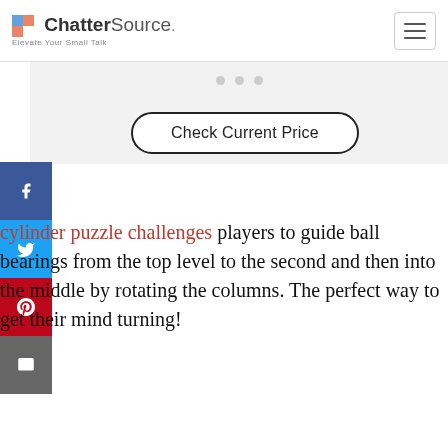ChatterSource. Elevate Your Small Talk
[Figure (screenshot): Gray advertisement placeholder area with three dots]
[Figure (infographic): Social share sidebar buttons: Facebook (blue), Twitter (cyan), Pinterest (red), Email (gray)]
[Figure (other): Check Current Price button with rounded border]
cylinder puzzle challenges players to guide ball bearings from the top level to the second and then into the middle by rotating the columns. The perfect way to get their mind turning!